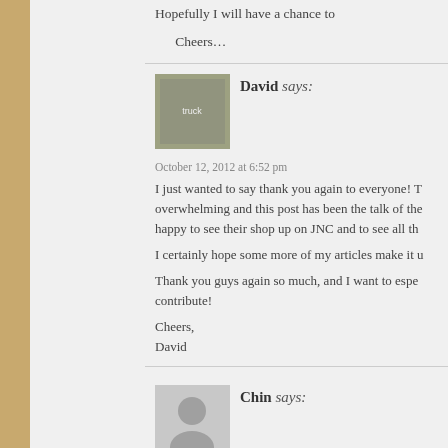Hopefully I will have a chance to
Cheers…
David says:
October 12, 2012 at 6:52 pm
I just wanted to say thank you again to everyone! T overwhelming and this post has been the talk of the happy to see their shop up on JNC and to see all th
I certainly hope some more of my articles make it u
Thank you guys again so much, and I want to espe contribute!
Cheers,
David
Chin says:
October 13, 2012 at 10:26 am
David, for thr love of anime, at least one time Be b